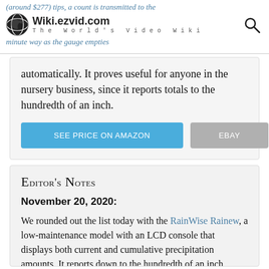Wiki.ezvid.com — The World's Video Wiki
automatically. It proves useful for anyone in the nursery business, since it reports totals to the hundredth of an inch.
SEE PRICE ON AMAZON | EBAY
Editor's Notes
November 20, 2020:
We rounded out the list today with the RainWise Rainew, a low-maintenance model with an LCD console that displays both current and cumulative precipitation amounts. It reports down to the hundredth of an inch, making it useful for the